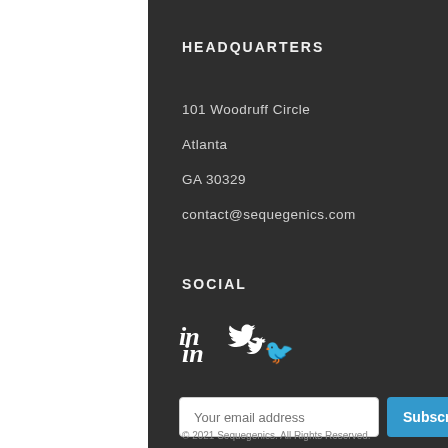HEADQUARTERS
101 Woodruff Circle
Atlanta
GA 30329
contact@sequegenics.com
SOCIAL
[Figure (other): LinkedIn and Twitter social media icons]
Your email address
Subscribe
© 2021 Sequegenics. All Rights Reserved.